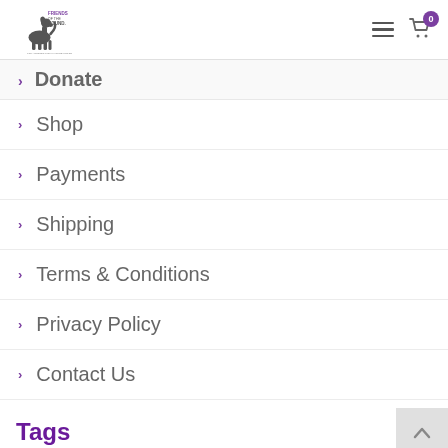Friends of the Hound logo, hamburger menu, cart icon with badge 0
Donate
Shop
Payments
Shipping
Terms & Conditions
Privacy Policy
Contact Us
Tags